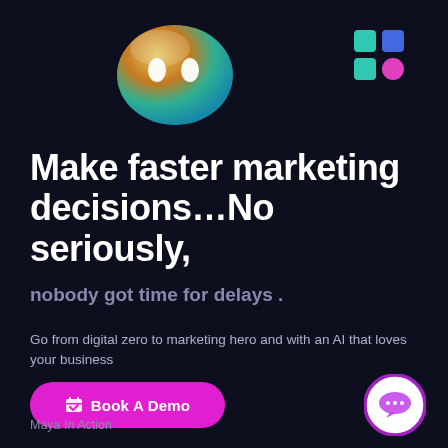[Figure (logo): Colorful gradient blob/emoji-face logo with two white oval eyes, gradient colors of orange, yellow, green, teal]
[Figure (logo): 2x2 grid of colored squares icon: top-left teal, top-right blue, bottom-left teal, bottom-right pink/magenta]
Make faster marketing decisions…No seriously,
nobody got time for delays .
Go from digital zero to marketing hero and with an AI that loves your business
[Figure (other): Magenta/pink rounded button with calendar/bookmark icon and text 'Book A Demo']
Maya In Action
[Figure (other): White circle with gradient purple/magenta border containing a speech bubble chat icon with dots]